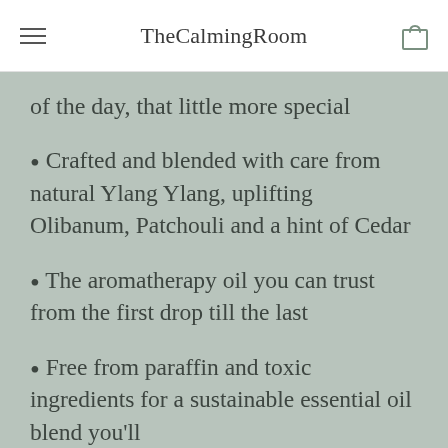TheCalmingRoom
of the day, that little more special
Crafted and blended with care from natural Ylang Ylang, uplifting Olibanum, Patchouli and a hint of Cedar
The aromatherapy oil you can trust from the first drop till the last
Free from paraffin and toxic ingredients for a sustainable essential oil blend you'll